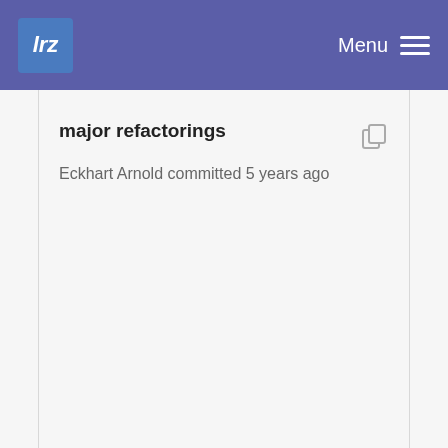lrz  Menu
major refactorings
Eckhart Arnold committed 5 years ago